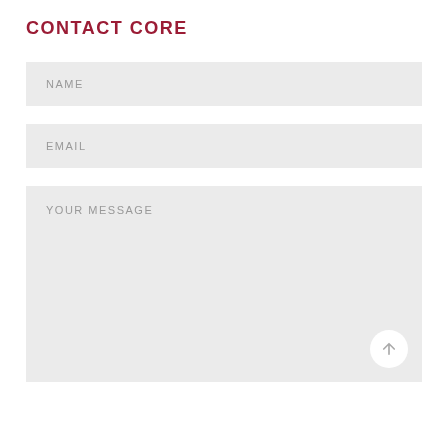CONTACT CORE
NAME
EMAIL
YOUR MESSAGE
[Figure (other): reCAPTCHA widget with checkbox, 'I'm not a robot' text, and reCAPTCHA logo]